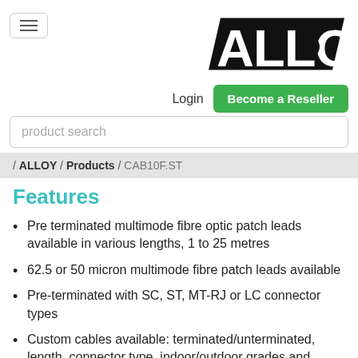[Figure (logo): ALLOY brand logo in black bold text with geometric letterforms]
Login
Become a Reseller
product search
/ ALLOY / Products / CAB10F.ST
Features
Pre terminated multimode fibre optic patch leads available in various lengths, 1 to 25 metres
62.5 or 50 micron multimode fibre patch leads available
Pre-terminated with SC, ST, MT-RJ or LC connector types
Custom cables available: terminated/unterminated, length, connector type, indoor/outdoor grades and sheath colour. Call Alloy with your specification